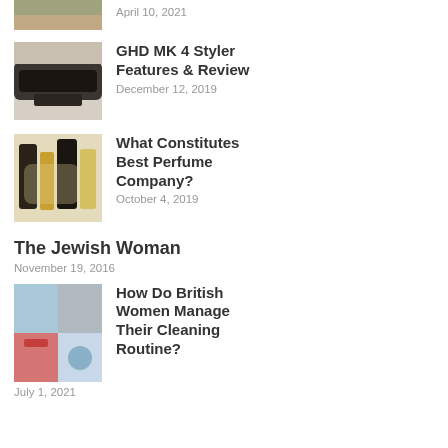[Figure (photo): Partial food/sandwich image at top, cropped]
April 10, 2021
[Figure (photo): GHD hair straightener on a table]
GHD MK 4 Styler Features & Review
December 12, 2019
[Figure (photo): Various perfume bottles arranged together]
What Constitutes Best Perfume Company?
October 4, 2019
The Jewish Woman
November 19, 2016
[Figure (photo): Collage of cleaning-related images showing British women cleaning]
How Do British Women Manage Their Cleaning Routine?
July 1, 2021